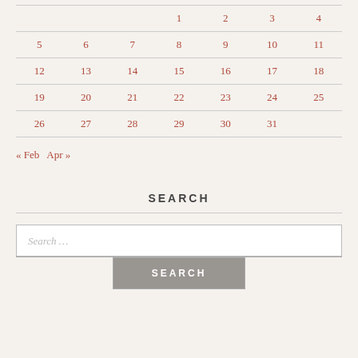|  |  |  | 1 | 2 | 3 | 4 |
| --- | --- | --- | --- | --- | --- | --- |
| 5 | 6 | 7 | 8 | 9 | 10 | 11 |
| 12 | 13 | 14 | 15 | 16 | 17 | 18 |
| 19 | 20 | 21 | 22 | 23 | 24 | 25 |
| 26 | 27 | 28 | 29 | 30 | 31 |  |
« Feb   Apr »
SEARCH
Search …
SEARCH